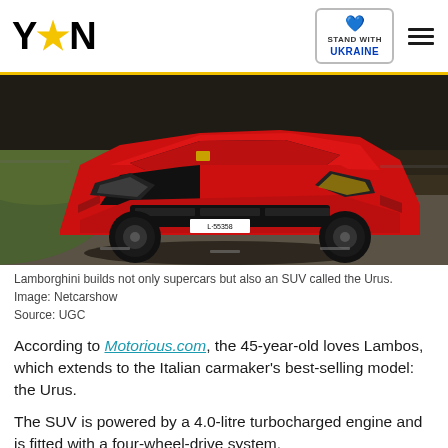YEN — STAND WITH UKRAINE
[Figure (photo): Red Lamborghini Urus SUV on a racing track, front three-quarter view, license plate L-55358]
Lamborghini builds not only supercars but also an SUV called the Urus.
Image: Netcarshow
Source: UGC
According to Motorious.com, the 45-year-old loves Lambos, which extends to the Italian carmaker's best-selling model: the Urus.
The SUV is powered by a 4.0-litre turbocharged engine and is fitted with a four-wheel-drive system.